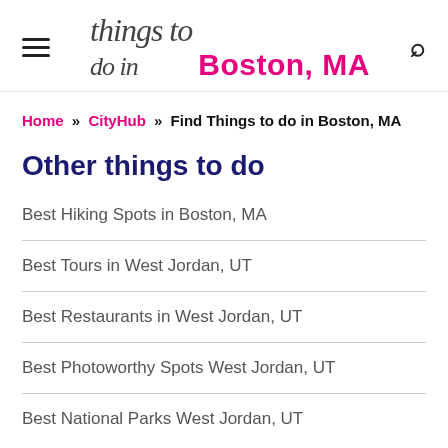Things to do in Boston, MA
Home » CityHub » Find Things to do in Boston, MA
Other things to do
Best Hiking Spots in Boston, MA
Best Tours in West Jordan, UT
Best Restaurants in West Jordan, UT
Best Photoworthy Spots West Jordan, UT
Best National Parks West Jordan, UT